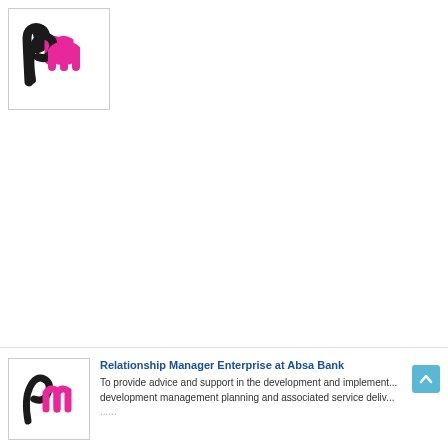[Figure (logo): Black and pink stylized 'pm' logo mark inside a white box with thin border, top left corner of page]
[Figure (logo): Black and pink stylized 'pm' logo mark inside a white box with thin border, in bottom card section]
Relationship Manager Enterprise at Absa Bank
To provide advice and support in the development and implement... development management planning and associated service deliv...